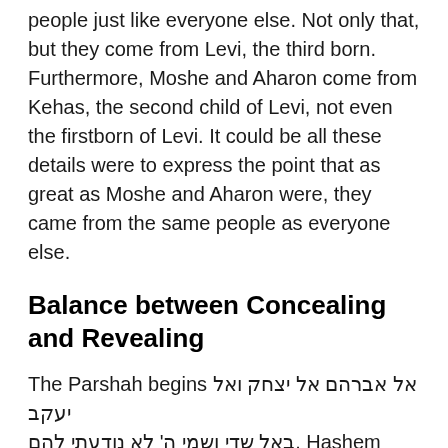people just like everyone else. Not only that, but they come from Levi, the third born. Furthermore, Moshe and Aharon come from Kehas, the second child of Levi, not even the firstborn of Levi. It could be all these details were to express the point that as great as Moshe and Aharon were, they came from the same people as everyone else.
Balance between Concealing and Revealing
The Parshah begins אל אברהם אל יצחק ואל יעקב באל שדי ושמי ה' לא נודעתי להם. Hashem tells Moshe that he appeared to Avraham, Yitzchak, and Yaakov as קל שקי but not with the Shem Havayeh. A few Psukim later, on Pasuk ט, Rashi writes the following: